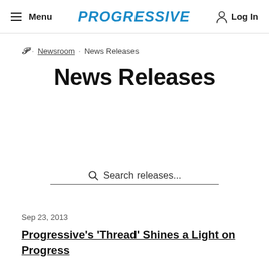Menu | PROGRESSIVE | Log In
𝒫 · Newsroom · News Releases
News Releases
Search releases...
Sep 23, 2013
Progressive's 'Thread' Shines a Light on Progress